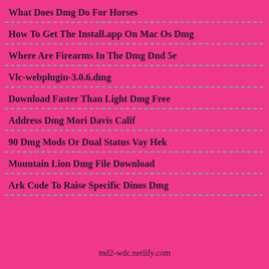What Does Dmg Do For Horses
How To Get The Install.app On Mac Os Dmg
Where Are Firearms In The Dmg Dnd 5e
Vlc-webplugin-3.0.6.dmg
Download Faster Than Light Dmg Free
Address Dmg Mori Davis Calif
90 Dmg Mods Or Dual Status Vay Hek
Mountain Lion Dmg File Download
Ark Code To Raise Specific Dinos Dmg
md2-wdc.netlify.com